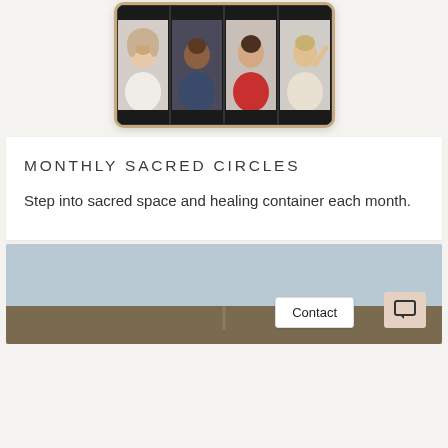[Figure (screenshot): Screenshot of a tablet showing a video call with 4 participants in a 2x2 grid on a dark background]
MONTHLY SACRED CIRCLES
Step into sacred space and healing container each month.
[Figure (photo): Partial outdoor landscape photo showing a light blue sky and a road or path, with a Contact button and chat icon button overlaid in the bottom right corner]